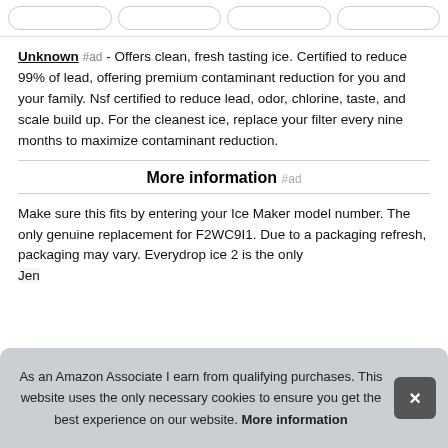Unknown #ad - Offers clean, fresh tasting ice. Certified to reduce 99% of lead, offering premium contaminant reduction for you and your family. Nsf certified to reduce lead, odor, chlorine, taste, and scale build up. For the cleanest ice, replace your filter every nine months to maximize contaminant reduction.
More information #ad
Make sure this fits by entering your Ice Maker model number. The only genuine replacement for F2WC9I1. Due to a packaging refresh, packaging may vary. Everydrop ice 2 is the only [partially obscured] Jen[nair]
As an Amazon Associate I earn from qualifying purchases. This website uses the only necessary cookies to ensure you get the best experience on our website. More information